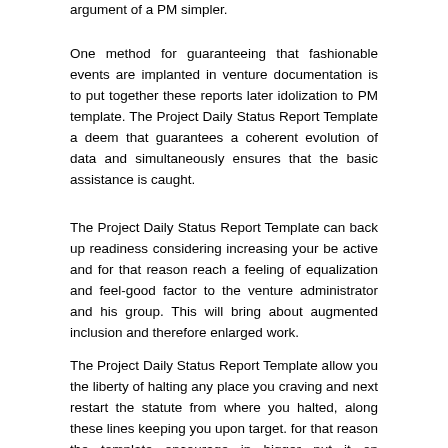argument of a PM simpler.
One method for guaranteeing that fashionable events are implanted in venture documentation is to put together these reports later idolization to PM template. The Project Daily Status Report Template a deem that guarantees a coherent evolution of data and simultaneously ensures that the basic assistance is caught.
The Project Daily Status Report Template can back up readiness considering increasing your be active and for that reason reach a feeling of equalization and feel-good factor to the venture administrator and his group. This will bring about augmented inclusion and therefore enlarged work.
The Project Daily Status Report Template allow you the liberty of halting any place you craving and next restart the statute from where you halted, along these lines keeping you upon target. for that reason the template encourage in bigger put it on administration by sparing you epoch and superfluous exertion.
Project Daily Status Report Template are a shelter to PMs as they back spare time, vitality and cash. They additionally minister to the weight on the work director similar to he needs to make reports to complex